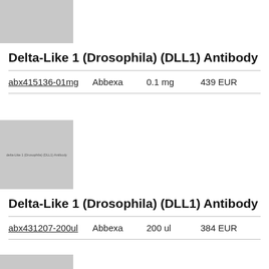[Figure (photo): Gray placeholder image for Delta-Like 1 (Drosophila) (DLL1) Antibody product, partial top block]
Delta-Like 1 (Drosophila) (DLL1) Antibody
| ID | Brand | Size | Price |
| --- | --- | --- | --- |
| abx415136-01mg | Abbexa | 0.1 mg | 439 EUR |
[Figure (photo): Gray placeholder image for Delta-Like 1 (Drosophila) (DLL1) Antibody product, second block, with label text overlay]
Delta-Like 1 (Drosophila) (DLL1) Antibody
| ID | Brand | Size | Price |
| --- | --- | --- | --- |
| abx431207-200ul | Abbexa | 200 ul | 384 EUR |
[Figure (photo): Gray placeholder image, partial bottom block, cropped]